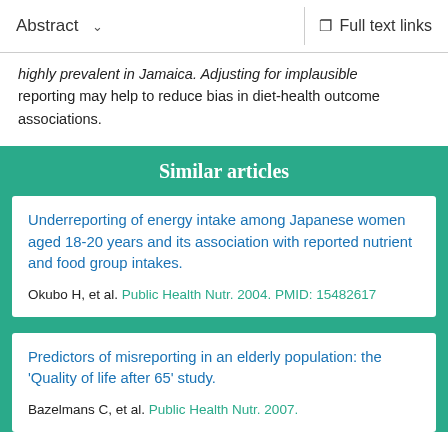Abstract   ∨   Full text links
highly prevalent in Jamaica. Adjusting for implausible reporting may help to reduce bias in diet-health outcome associations.
Similar articles
Underreporting of energy intake among Japanese women aged 18-20 years and its association with reported nutrient and food group intakes.
Okubo H, et al. Public Health Nutr. 2004. PMID: 15482617
Predictors of misreporting in an elderly population: the 'Quality of life after 65' study.
Bazelmans C, et al. Public Health Nutr. 2007.